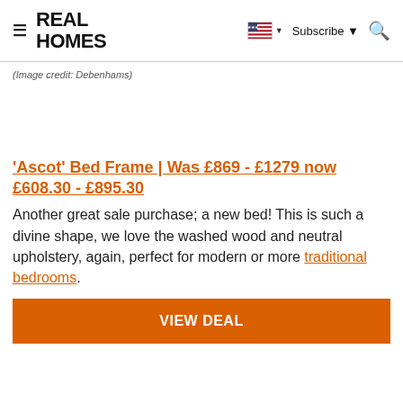REAL HOMES
(Image credit: Debenhams)
'Ascot' Bed Frame | Was £869 - £1279 now £608.30 - £895.30
Another great sale purchase; a new bed! This is such a divine shape, we love the washed wood and neutral upholstery, again, perfect for modern or more traditional bedrooms.
VIEW DEAL